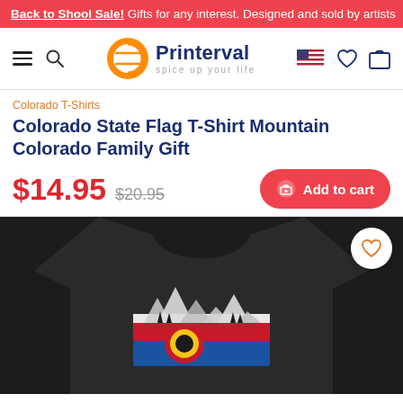Back to Shool Sale! Gifts for any interest. Designed and sold by artists
[Figure (logo): Printerval logo with orange circle icon and text 'Printerval spice up your life', navigation icons including hamburger menu, search, US flag, heart, and shopping bag]
Colorado T-Shirts
Colorado State Flag T-Shirt Mountain Colorado Family Gift
$14.95 $20.95 Add to cart
[Figure (photo): Black t-shirt with Colorado state flag mountain design showing the Colorado C logo with mountains and trees on a dark background]